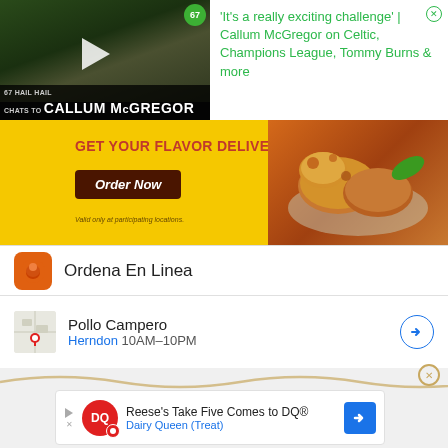[Figure (photo): Video thumbnail showing Callum McGregor interview for '67 Hail Hail' podcast, with play button overlay and green badge showing '67']
'It's a really exciting challenge' | Callum McGregor on Celtic, Champions League, Tommy Burns & more
[Figure (photo): Advertisement banner for Pollo Campero: 'GET YOUR FLAVOR DELIVERED!' with Order Now button and food image, showing delivery service with Google Maps integration for Ordena En Linea, Pollo Campero Herndon 10AM-10PM]
[Figure (photo): Bottom ad for Dairy Queen: Reese's Take Five Comes to DQ® - Dairy Queen (Treat)]